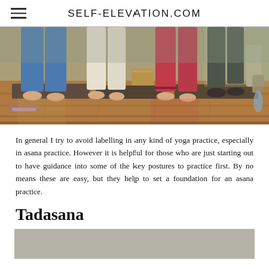SELF-ELEVATION.COM
[Figure (photo): People practicing yoga in a studio, showing legs and feet on yoga mats with yoga blocks on a wooden floor. Multiple people in colorful yoga pants.]
In general I try to avoid labelling in any kind of yoga practice, especially in asana practice. However it is helpful for those who are just starting out to have guidance into some of the key postures to practice first. By no means these are easy, but they help to set a foundation for an asana practice.
Tadasana
[Figure (photo): Partially visible photo with grey/taupe background color at the bottom of the page, cropped.]